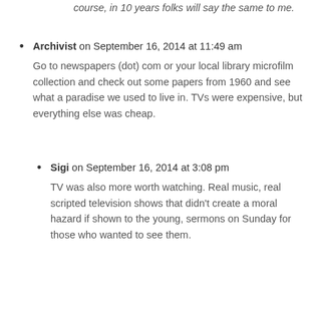course, in 10 years folks will say the same to me.
Archivist on September 16, 2014 at 11:49 am
Go to newspapers (dot) com or your local library microfilm collection and check out some papers from 1960 and see what a paradise we used to live in. TVs were expensive, but everything else was cheap.
Sigi on September 16, 2014 at 3:08 pm
TV was also more worth watching. Real music, real scripted television shows that didn't create a moral hazard if shown to the young, sermons on Sunday for those who wanted to see them.